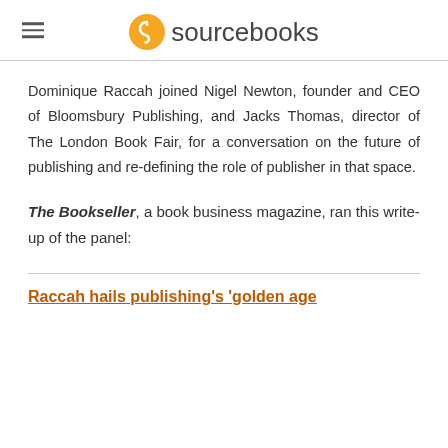sourcebooks
Dominique Raccah joined Nigel Newton, founder and CEO of Bloomsbury Publishing, and Jacks Thomas, director of The London Book Fair, for a conversation on the future of publishing and re-defining the role of publisher in that space.
The Bookseller, a book business magazine, ran this write-up of the panel:
Raccah hails publishing's 'golden age